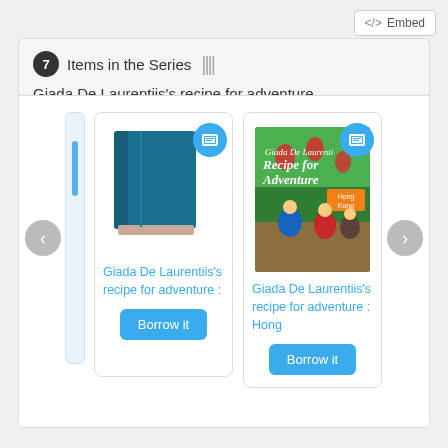</> Embed
7 Items in the Series ||| Giada De Laurentiis's recipe for adventure
[Figure (screenshot): Library catalog screenshot showing a series carousel with two book cards. Left card shows a generic blue book icon with a media badge, titled 'Giada De Laurentiis's recipe for adventure :' with a 'Borrow it' button. Right card shows the actual book cover 'Recipe for Adventure: Hong Kong' with a media badge and 'Borrow it' button. Navigation arrows on left and right.]